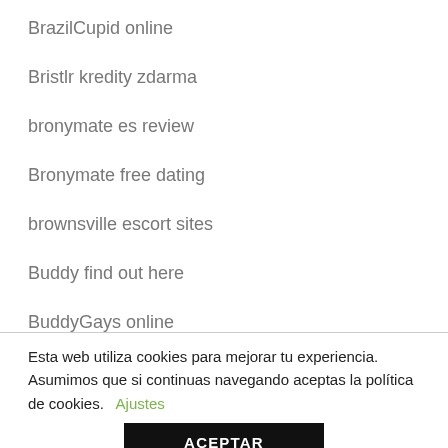BrazilCupid online
Bristlr kredity zdarma
bronymate es review
Bronymate free dating
brownsville escort sites
Buddy find out here
BuddyGays online
Esta web utiliza cookies para mejorar tu experiencia. Asumimos que si continuas navegando aceptas la política de cookies. Ajustes
ACEPTAR